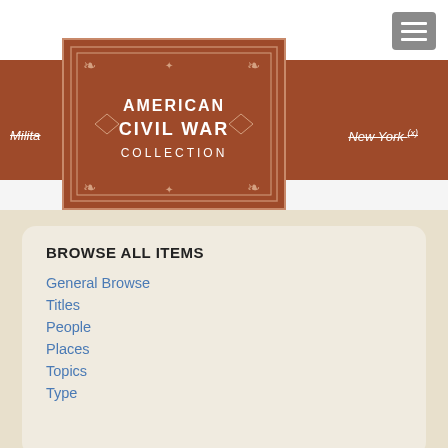[Figure (logo): American Civil War Collection logo — brown rectangle with ornamental border and white text reading AMERICAN CIVIL WAR COLLECTION]
Milita... New York (x)
BROWSE ALL ITEMS
General Browse
Titles
People
Places
Topics
Type
KEYWORD SEARCH